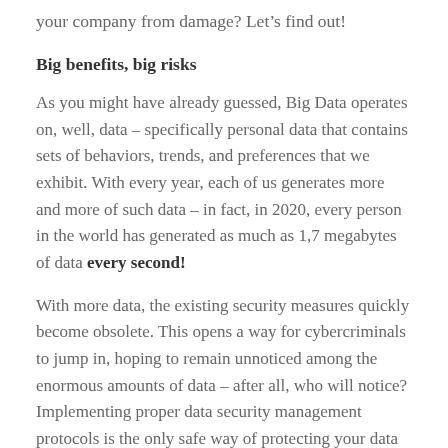your company from damage? Let's find out!
Big benefits, big risks
As you might have already guessed, Big Data operates on, well, data – specifically personal data that contains sets of behaviors, trends, and preferences that we exhibit. With every year, each of us generates more and more of such data – in fact, in 2020, every person in the world has generated as much as 1,7 megabytes of data every second!
With more data, the existing security measures quickly become obsolete. This opens a way for cybercriminals to jump in, hoping to remain unnoticed among the enormous amounts of data – after all, who will notice? Implementing proper data security management protocols is the only safe way of protecting your data as a company – which is becoming increasingly important as security regulations